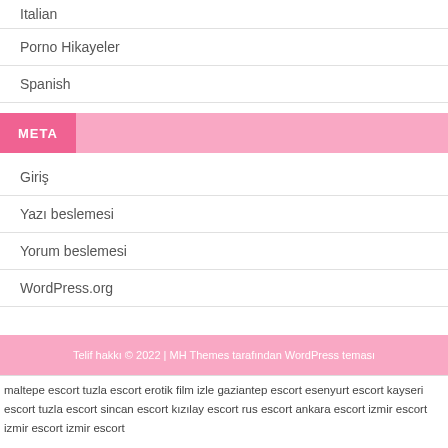Italian
Porno Hikayeler
Spanish
META
Giriş
Yazı beslemesi
Yorum beslemesi
WordPress.org
Telif hakkı © 2022 | MH Themes tarafından WordPress teması
maltepe escort tuzla escort erotik film izle gaziantep escort esenyurt escort kayseri escort tuzla escort sincan escort kızılay escort rus escort ankara escort izmir escort izmir escort izmir escort